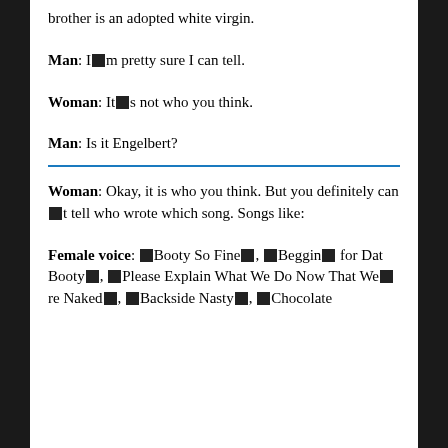brother is an adopted white virgin.
Man: I⊞m pretty sure I can tell.
Woman: It⊞s not who you think.
Man: Is it Engelbert?
Woman: Okay, it is who you think. But you definitely can⊞t tell who wrote which song. Songs like:
Female voice: ⊞Booty So Fine⊞, ⊞Begging⊞ for Dat Booty⊞, ⊞Please Explain What We Do Now That We⊞re Naked⊞, ⊞Backside Nasty⊞, ⊞Chocolate